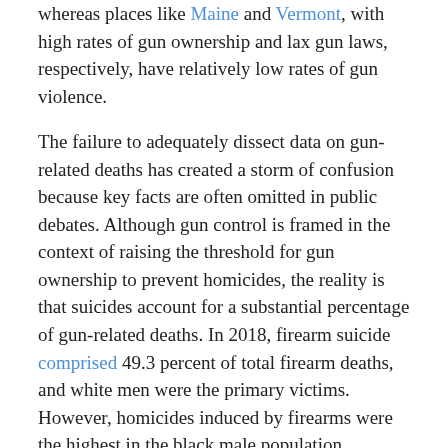whereas places like Maine and Vermont, with high rates of gun ownership and lax gun laws, respectively, have relatively low rates of gun violence.
The failure to adequately dissect data on gun-related deaths has created a storm of confusion because key facts are often omitted in public debates. Although gun control is framed in the context of raising the threshold for gun ownership to prevent homicides, the reality is that suicides account for a substantial percentage of gun-related deaths. In 2018, firearm suicide comprised 49.3 percent of total firearm deaths, and white men were the primary victims. However, homicides induced by firearms were the highest in the black male population.
Victims of suicide regularly suffer from mental health challenges that lead them to kill themselves. So, the failure to address mental health problems is the real culprit, rather than guns. Additionally, even if gun control makes it harder for people with mental health troubles to obtain guns, this would not prevent